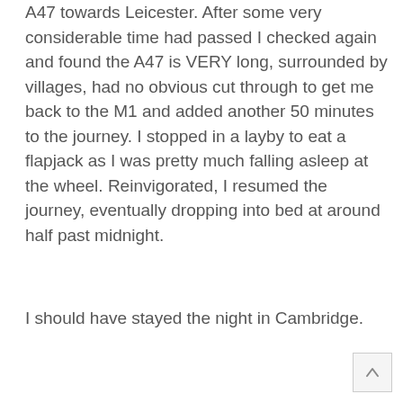A47 towards Leicester. After some very considerable time had passed I checked again and found the A47 is VERY long, surrounded by villages, had no obvious cut through to get me back to the M1 and added another 50 minutes to the journey. I stopped in a layby to eat a flapjack as I was pretty much falling asleep at the wheel. Reinvigorated, I resumed the journey, eventually dropping into bed at around half past midnight.
I should have stayed the night in Cambridge.